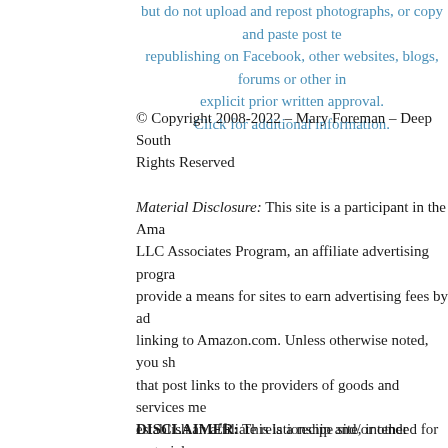but do not upload and repost photographs, or copy and paste post text republishing on Facebook, other websites, blogs, forums or other int explicit prior written approval. Click for additional information.
© Copyright 2008-2022 – Mary Foreman – Deep South Rights Reserved
Material Disclosure: This site is a participant in the Ama LLC Associates Program, an affiliate advertising progra provide a means for sites to earn advertising fees by ad linking to Amazon.com. Unless otherwise noted, you sh that post links to the providers of goods and services me establish an affiliate relationship and/or other material c that I may be compensated when you purchase from the are never under any obligation to purchase anything wh recipes and you should always perform due diligence be goods or services from anyone via the Internet or offline
DISCLAIMER: This is a recipe site, intended for...